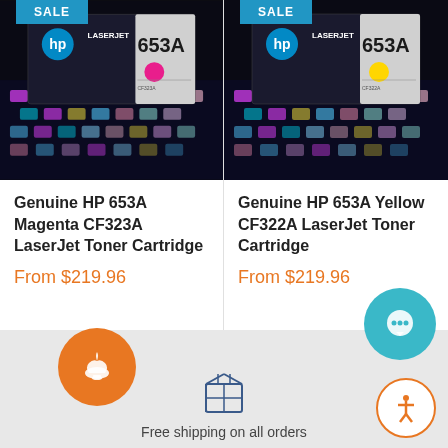[Figure (photo): HP LaserJet 653A Magenta CF323A toner cartridge product photo on dark background]
Genuine HP 653A Magenta CF323A LaserJet Toner Cartridge
From $219.96
[Figure (photo): HP LaserJet 653A Yellow CF322A toner cartridge product photo on dark background]
Genuine HP 653A Yellow CF322A LaserJet Toner Cartridge
From $219.96
Free shipping on all orders